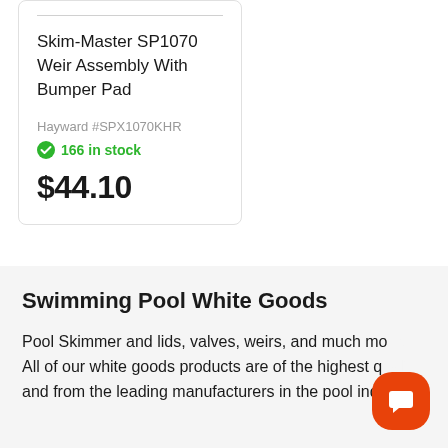Skim-Master SP1070 Weir Assembly With Bumper Pad
Hayward #SPX1070KHR
166 in stock
$44.10
Swimming Pool White Goods
Pool Skimmer and lids, valves, weirs, and much more. All of our white goods products are of the highest quality and from the leading manufacturers in the pool industry.